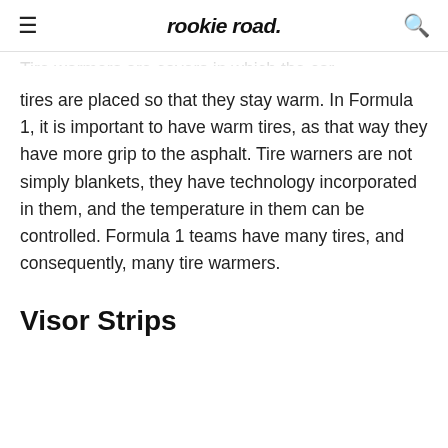rookie road
Tire warmers are covers in which the car tires are placed so that they stay warm. In Formula 1, it is important to have warm tires, as that way they have more grip to the asphalt. Tire warners are not simply blankets, they have technology incorporated in them, and the temperature in them can be controlled. Formula 1 teams have many tires, and consequently, many tire warmers.
Visor Strips